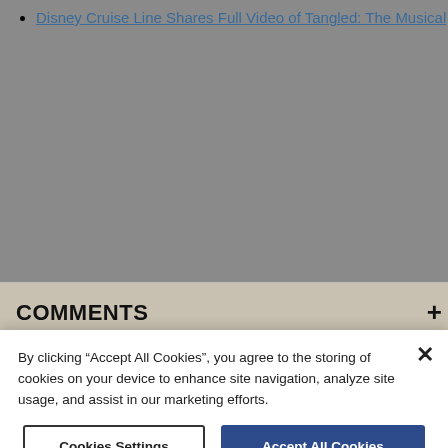Disney Cruise Line Shares Full Video of Tangled: The Musical
COMMENTS +
By clicking "Accept All Cookies", you agree to the storing of cookies on your device to enhance site navigation, analyze site usage, and assist in our marketing efforts.
Cookies Settings | Accept All Cookies